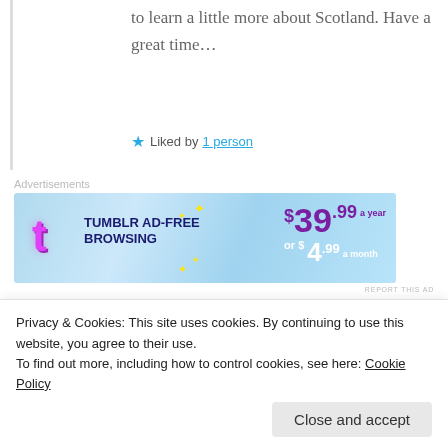to learn a little more about Scotland. Have a great time…
★ Liked by 1 person
Advertisements
[Figure (other): Tumblr Ad-Free Browsing advertisement banner: $39.99 a year or $4.99 a month]
REPORT THIS AD
Widdershins
13th Jun 2019 at 1:19 am
Privacy & Cookies: This site uses cookies. By continuing to use this website, you agree to their use.
To find out more, including how to control cookies, see here: Cookie Policy
Close and accept